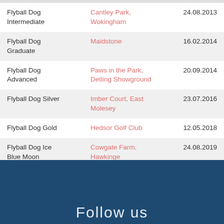| Award | Venue | Date |
| --- | --- | --- |
| Flyball Dog Intermediate | Cantley Park, Wokingham | 24.08.2013 |
| Flyball Dog Graduate | Maidstone | 16.02.2014 |
| Flyball Dog Advanced | Paws in the Park, Detling Showground | 20.09.2014 |
| Flyball Dog Silver | Imber Court, East Molesey | 23.07.2016 |
| Flyball Dog Gold | Hedsor Golf Club | 12.05.2018 |
| Flyball Dog Ice Blue Moon | Cowgate Farm, Hawkinge | 24.08.2019 |
Follow us